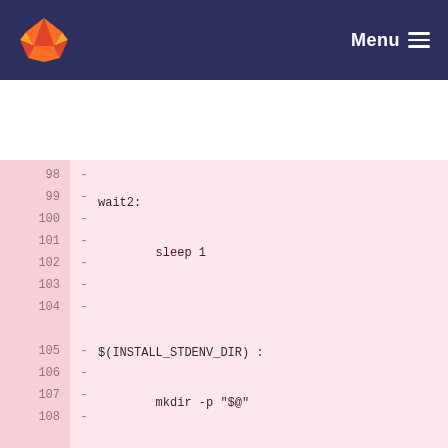GitLab Menu
[Figure (screenshot): GitLab code diff view showing lines 98-115 of a Makefile with removed lines (marked with -) including wait2, sleep, INSTALL_STDENV_DIR targets, mkdir, cp, chmod commands, and cleanup section]
98  - wait2:
99  -         sleep 1
100 -
101 - $(INSTALL_STDENV_DIR) :
102 -         mkdir -p "$@"
103 -
104 - $(INSTALL_STDENV_DIR)/Clean\ System\ Files :
105 -         mkdir -p "$@"
106 -
107 - $(INSTALL_STDENV_DIR)/% : %
108 -         cp --preserve=timestamps "$<" "$@"
109 -         chmod 644 "$@"
110 -
111 - #
112 - # Cleanup
113 - #
114 -
115 - cleanup: